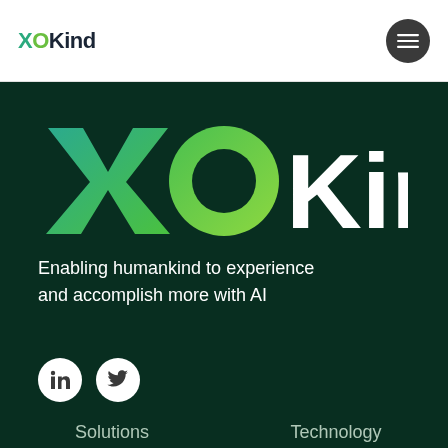XOKind — navigation header with logo and menu button
[Figure (logo): XOKind large logo on dark green background with gradient coloring on XO letters]
Enabling humankind to experience and accomplish more with AI
[Figure (infographic): LinkedIn and Twitter social media icon buttons (white circles on dark green background)]
Solutions    Technology